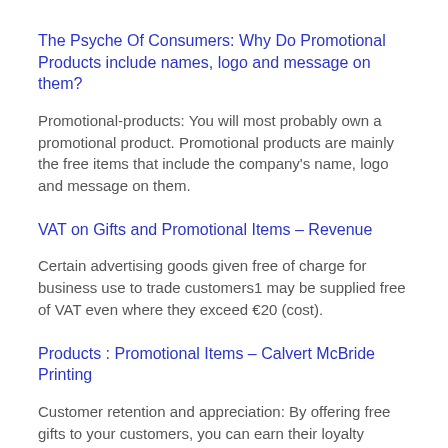The Psyche Of Consumers: Why Do Promotional Products include names, logo and message on them?
Promotional-products: You will most probably own a promotional product. Promotional products are mainly the free items that include the company's name, logo and message on them.
VAT on Gifts and Promotional Items – Revenue
Certain advertising goods given free of charge for business use to trade customers1 may be supplied free of VAT even where they exceed €20 (cost).
Products : Promotional Items – Calvert McBride Printing
Customer retention and appreciation: By offering free gifts to your customers, you can earn their loyalty towards your company.
Why Do Promotional Products Work? – American